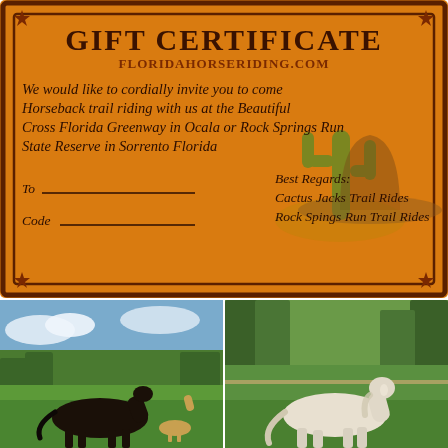[Figure (illustration): Orange western-style gift certificate with dark brown border and star corner decorations. Features cactus and cowboy hat illustration. Title reads GIFT CERTIFICATE, subtitle FLORIDAHORSERIDING.COM. Body text invites recipient to horseback trail riding at Cross Florida Greenway in Ocala or Rock Springs Run State Reserve in Sorrento Florida. Fields for To and Code with signature lines. Best Regards from Cactus Jacks Trail Rides and Rock Springs Run Trail Rides.]
[Figure (photo): Dark brown/black horse standing in green grassy field with trees in background. Another light-colored horse visible in background. Blue sky with clouds.]
[Figure (photo): White/cream colored horse standing on green grass with green trees and fence in background.]
[Figure (photo): Partially visible horse photo with bright sky and green trees — bottom of page, left.]
[Figure (photo): Brown/chestnut horse partially visible — bottom of page, right, blue sky background.]